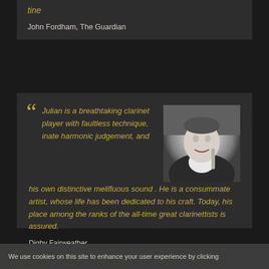tine
John Fordham, The Guardian
Julian is a breathtaking clarinet player with faultless technique, inate harmonic judgement, and his own distinctive melifluous sound . He is a consummate artist, whose life has been dedicated to his craft. Today, his place among the ranks of the all-time great clarinettists is assured.
[Figure (photo): Black and white portrait photo of a smiling man in a leather jacket holding a clarinet]
Digby Fairweather
We use cookies on this site to enhance your user experience by clicking